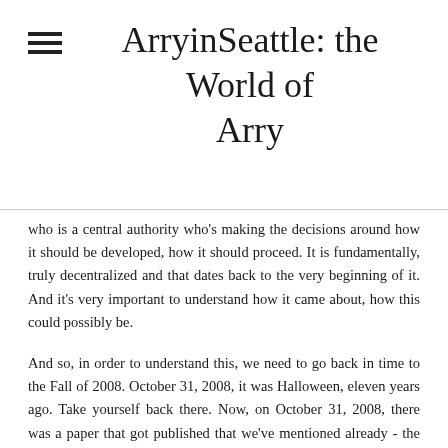ArryinSeattle: the World of Arry
who is a central authority who's making the decisions around how it should be developed, how it should proceed. It is fundamentally, truly decentralized and that dates back to the very beginning of it. And it's very important to understand how it came about, how this could possibly be.
And so, in order to understand this, we need to go back in time to the Fall of 2008. October 31, 2008, it was Halloween, eleven years ago. Take yourself back there. Now, on October 31, 2008, there was a paper that got published that we've mentioned already - the Bitcoin white paper. And in that white paper, there was presented for the first time, a solution to a problem that had existed for a while. That problem was how might we create a peer-to-peer electronic cash system.
Now, we might be sitting here and saying, "Well, okay. But I kind of already have electronic cash. I have my Bank of America app on my phone, I have Venmo, I have PayPal. Why is this different?"